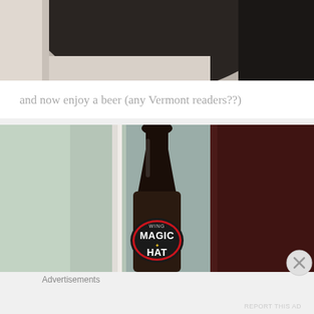[Figure (photo): Partial view of a dark rounded object (possibly a leather ball or furniture) on a light surface, cropped top photo]
and now enjoy a beer (any Vermont readers??)
[Figure (photo): Close-up photo of a Magic Hat beer bottle with visible label showing 'MAGIC HAT' text and logo, dark amber bottle, blurred background with window and curtain]
Advertisements